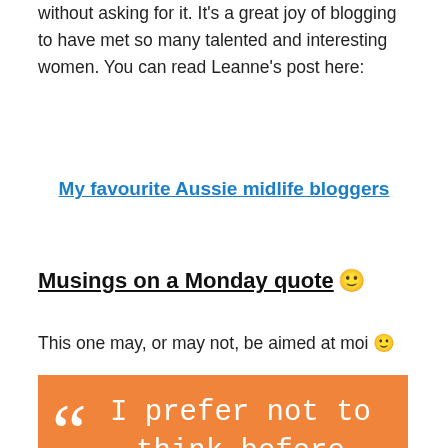without asking for it. It's a great joy of blogging to have met so many talented and interesting women. You can read Leanne's post here:
My favourite Aussie midlife bloggers
Musings on a Monday quote 🙂
This one may, or may not, be aimed at moi 🙂
[Figure (illustration): Orange background quote graphic with large opening quotation marks and white text reading 'I prefer not to think before speaking. I like' with a white rectangular border outline.]